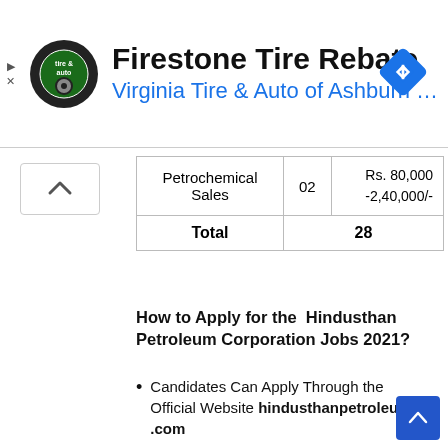[Figure (other): Ad banner for Firestone Tire Rebate by Virginia Tire & Auto of Ashburn]
|  |  |  |
| --- | --- | --- |
| Petrochemical Sales | 02 | Rs. 80,000 -2,40,000/- |
| Total | 28 |  |
How to Apply for the Hindusthan Petroleum Corporation Jobs 2021?
Candidates Can Apply Through the Official Website hindusthanpetroleum .com
Before Apply HPCL CA Jobs 2021 Candidates Can Read the Advertisement